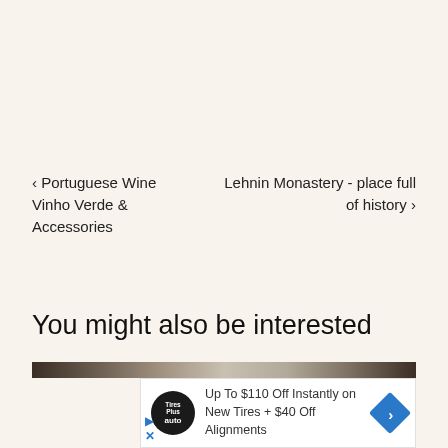‹ Portuguese Wine Vinho Verde & Lehnin Monastery - place full Accessories of history ›
You might also be interested
[Figure (photo): Partial image strip visible at top of content area]
[Figure (infographic): Advertisement: Tires Plus Auto logo. Text: Up To $110 Off Instantly on New Tires + $40 Off Alignments. Blue diamond arrow icon on right.]